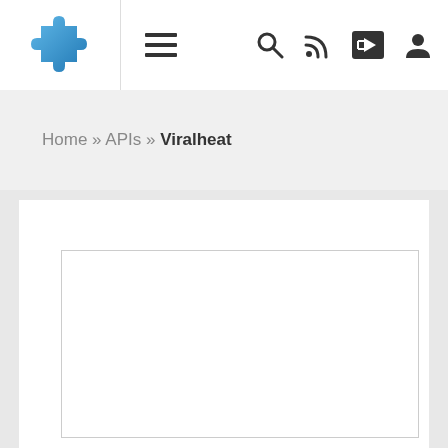Navigation bar with logo, hamburger menu, search, RSS, share, and user icons
Home » APIs » Viralheat
[Figure (screenshot): White content card with an inner bordered rectangle placeholder area]